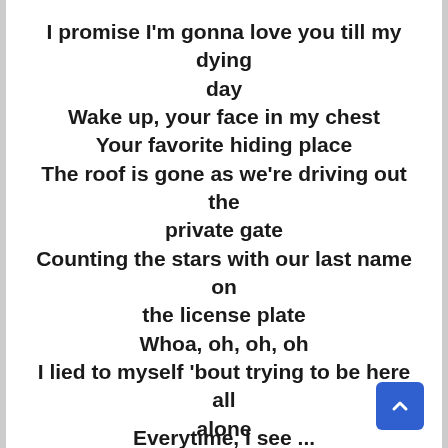I promise I'm gonna love you till my dying day
Wake up, your face in my chest
Your favorite hiding place
The roof is gone as we're driving out the private gate
Counting the stars with our last name on the license plate
Whoa, oh, oh, oh
I lied to myself 'bout trying to be here all alone
When I leave, it's bye for now, it's just never bye for long
Set my feeling aside
Let's settle down
Everytime ...